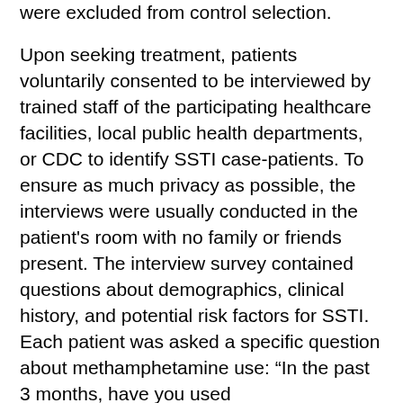were excluded from control selection. Upon seeking treatment, patients voluntarily consented to be interviewed by trained staff of the participating healthcare facilities, local public health departments, or CDC to identify SSTI case-patients. To ensure as much privacy as possible, the interviews were usually conducted in the patient's room with no family or friends present. The interview survey contained questions about demographics, clinical history, and potential risk factors for SSTI. Each patient was asked a specific question about methamphetamine use: “In the past 3 months, have you used methamphetamine (crystal meth or meth)?” If the patient answered yes, 2 follow-up questions were asked: 1) “How did you take methamphetamine?” with the choices “smoked or inhaled,” “injected,” or “swallowed or took pills,” and 2) “How many days during your most recent contact with meth...